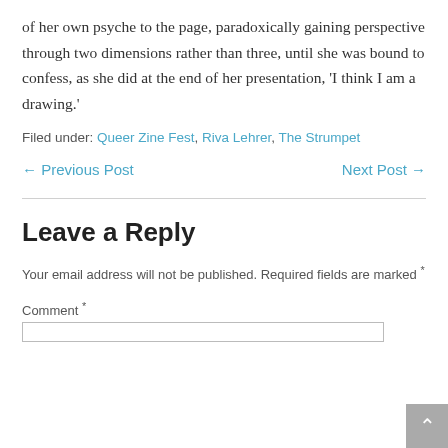of her own psyche to the page, paradoxically gaining perspective through two dimensions rather than three, until she was bound to confess, as she did at the end of her presentation, 'I think I am a drawing.'
Filed under: Queer Zine Fest, Riva Lehrer, The Strumpet
← Previous Post    Next Post →
Leave a Reply
Your email address will not be published. Required fields are marked *
Comment *